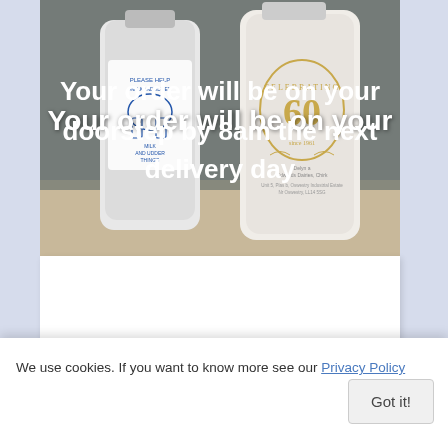[Figure (photo): Photo of two milk bottles on a doorstep. One bottle has a blue logo reading 'Milk and Udder Things'. The other bottle has a golden '60' anniversary emblem reading 'Celebrating'. Overlaid white bold text reads: 'Your order will be on your doorstep by 8am the next delivery day'.]
We use cookies. If you want to know more see our Privacy Policy
Got it!